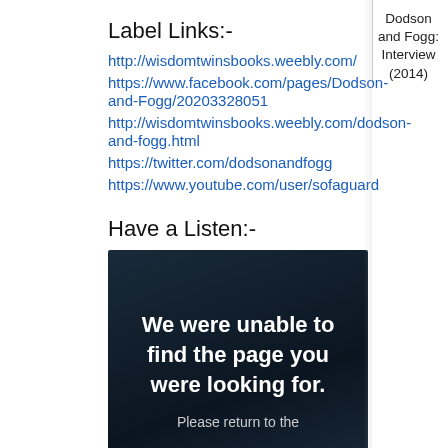Label Links:-
http://wisdomtwinsbooks.weebly.com/
https://www.facebook.com/pages/Dodson-and-Fogg/202033280515
http://wisdomtwinsbooks.weebly.com/dodson-and-fogg.html
https://twitter.com/dodsonandfogg
https://www.youtube.com/user/sofaguard
Dodson and Fogg: Interview (2014)
Have a Listen:-
[Figure (screenshot): Embedded audio/video player showing error message: 'We were unable to find the page you were looking for. Please return to the']